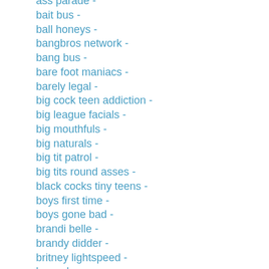ass parade -
bait bus -
ball honeys -
bangbros network -
bang bus -
bare foot maniacs -
barely legal -
big cock teen addiction -
big league facials -
big mouthfuls -
big naturals -
big tit patrol -
big tits round asses -
black cocks tiny teens -
boys first time -
boys gone bad -
brandi belle -
brandy didder -
britney lightspeed -
bruno b -
budapest bang -
busty adventures -
captain stabbin -